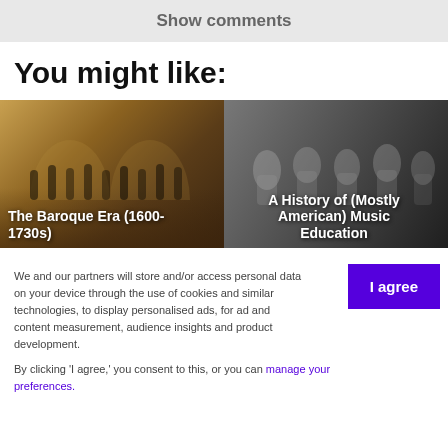Show comments
You might like:
[Figure (photo): Two side-by-side article thumbnails. Left: 'The Baroque Era (1600-1730s)' showing orchestra musicians in a golden baroque hall. Right: 'A History of (Mostly American) Music Education' showing black-and-white photo of children in a music class.]
We and our partners will store and/or access personal data on your device through the use of cookies and similar technologies, to display personalised ads, for ad and content measurement, audience insights and product development.
By clicking 'I agree,' you consent to this, or you can manage your preferences.